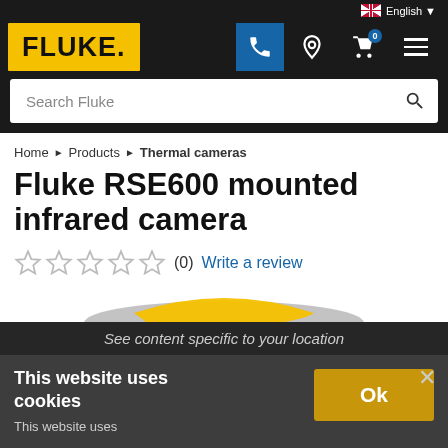English
[Figure (logo): Fluke logo — black text on yellow background with navigation icons (phone, location, cart, menu)]
Search Fluke
Home ▶ Products ▶ Thermal cameras
Fluke RSE600 mounted infrared camera
★★★★★ (0)  Write a review
See content specific to your location
This website uses cookies
This website uses
Ok